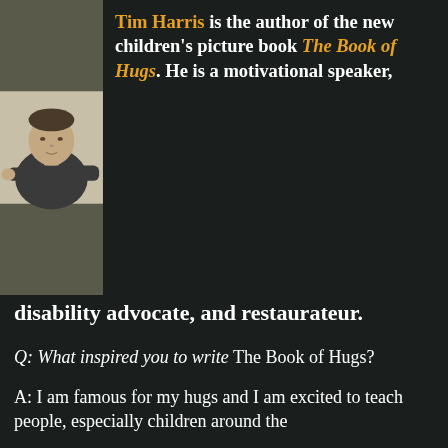[Figure (photo): Photo of Tim Harris, a man wearing a dark grey t-shirt, pointing forward with his right hand in a fist/gesture, standing against a light beige wall. He appears to have Down syndrome.]
Tim Harris is the author of the new children's picture book The Book of Hugs. He is a motivational speaker, disability advocate, and restaurateur.
Q: What inspired you to write The Book of Hugs?
A: I am famous for my hugs and I am excited to teach people, especially children around the